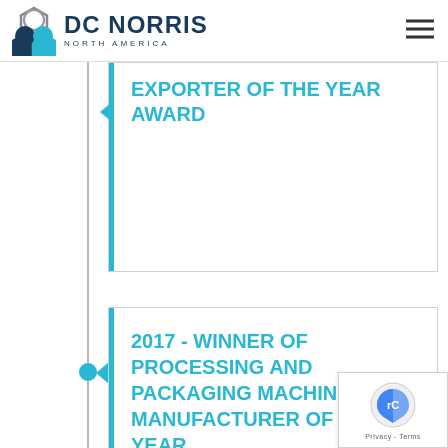DC NORRIS NORTH AMERICA
EXPORTER OF THE YEAR AWARD
2017 - WINNER OF PROCESSING AND PACKAGING MACHINERY MANUFACTURER OF THE YEAR